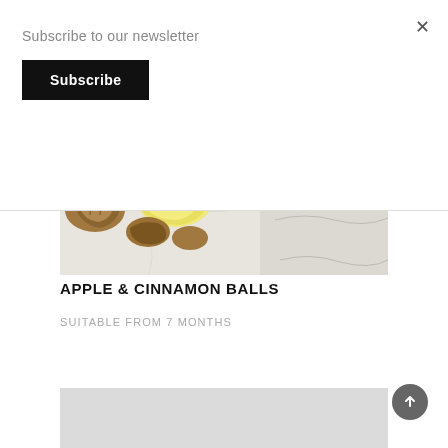Subscribe to our newsletter
Subscribe
[Figure (photo): Close-up photo of apple and cinnamon balls with walnuts on a white marble surface]
APPLE & CINNAMON BALLS
SUITABLE FROM 7 MONTHS
[Figure (photo): Bottom portion of a second food photo, partially visible, showing a light grey/white background]